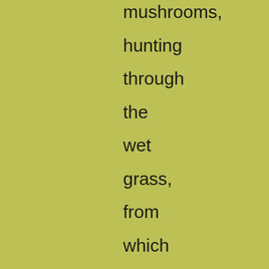mushrooms, hunting through the wet grass, from which the larks were rising, for the white-skinned, wonderful naked bodies crouched